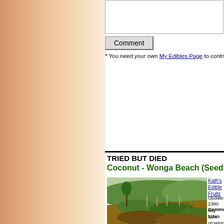Comment
* You need your own My Edibles Page to contribute  Quick & Easy
TRIED BUT DIED
Coconut - Wonga Beach (Seedling)
[Figure (photo): Hillside garden landscape with a young tree/seedling in the foreground and green sloped terrain with stakes in the background]
Kath's Edible Fruits
Update: 2380 days 10hrs
Comments: -
Now growing coco number 2, Cardwe added a wheel bar of sand to the site planted into a big mound to improve